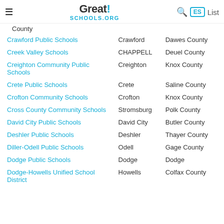GreatSchools.org — search, ES, List
County (partial, top of page)
| School | City | County |
| --- | --- | --- |
| Crawford Public Schools | Crawford | Dawes County |
| Creek Valley Schools | CHAPPELL | Deuel County |
| Creighton Community Public Schools | Creighton | Knox County |
| Crete Public Schools | Crete | Saline County |
| Crofton Community Schools | Crofton | Knox County |
| Cross County Community Schools | Stromsburg | Polk County |
| David City Public Schools | David City | Butler County |
| Deshler Public Schools | Deshler | Thayer County |
| Diller-Odell Public Schools | Odell | Gage County |
| Dodge Public Schools | Dodge | Dodge |
| Dodge-Howells Unified School District | Howells | Colfax County |